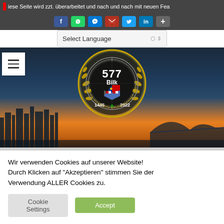iese Seite wird zzt. überarbeitet und nach und nach mit neuen Fea
[Figure (screenshot): Social share icons: Facebook, WhatsApp, Messenger, Email, Twitter, LinkedIn, Plus]
[Figure (screenshot): Select Language dropdown selector]
[Figure (photo): Hero banner with city skyline at sunset and organization logo (577 Bilk, 1445-2022) overlaid in center]
Wir verwenden Cookies auf unserer Website! Durch Klicken auf "Akzeptieren" stimmen Sie der Verwendung ALLER Cookies zu.
Cookie Settings   Accept